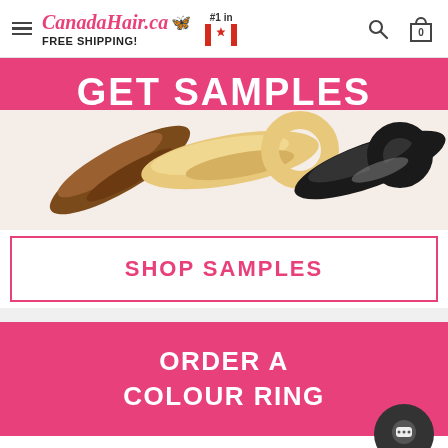CanadaHair.ca FREE SHIPPING! #1 in Canada
[Figure (screenshot): GET SAMPLES banner with pink background and hair extension swatches below showing brunette, blonde, and black hair samples]
SHOP SAMPLES
ORDER A COLOUR RING
FREE shipping + $15 Gift Card